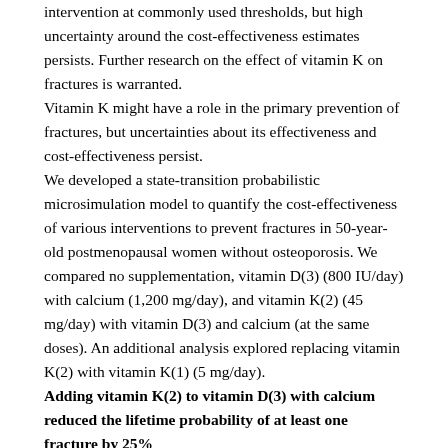intervention at commonly used thresholds, but high uncertainty around the cost-effectiveness estimates persists. Further research on the effect of vitamin K on fractures is warranted.
Vitamin K might have a role in the primary prevention of fractures, but uncertainties about its effectiveness and cost-effectiveness persist.
We developed a state-transition probabilistic microsimulation model to quantify the cost-effectiveness of various interventions to prevent fractures in 50-year-old postmenopausal women without osteoporosis. We compared no supplementation, vitamin D(3) (800 IU/day) with calcium (1,200 mg/day), and vitamin K(2) (45 mg/day) with vitamin D(3) and calcium (at the same doses). An additional analysis explored replacing vitamin K(2) with vitamin K(1) (5 mg/day).
Adding vitamin K(2) to vitamin D(3) with calcium reduced the lifetime probability of at least one fracture by 25%...